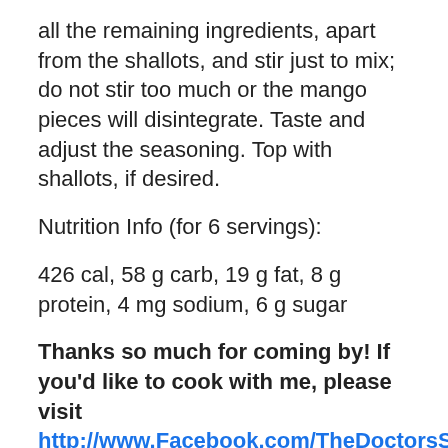all the remaining ingredients, apart from the shallots, and stir just to mix; do not stir too much or the mango pieces will disintegrate. Taste and adjust the seasoning. Top with shallots, if desired.
Nutrition Info (for 6 servings):
426 cal, 58 g carb, 19 g fat, 8 g protein, 4 mg sodium, 6 g sugar
Thanks so much for coming by! If you'd like to cook with me, please visit http://www.Facebook.com/TheDoctorsSpicebox for my upcoming events and more. My last class of the summer is coming up soon on 8/19, and it's another wonderful menu: Spanish Summertime: Gazpacho and Tapas. There are only a few spots remaining so please register today!